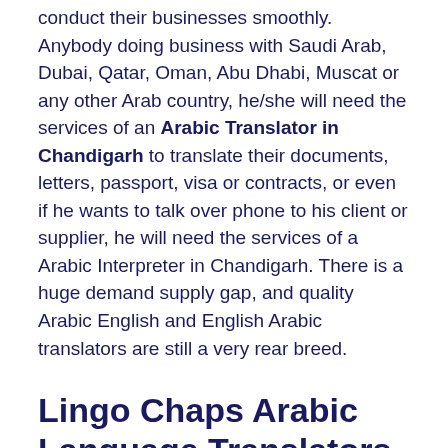conduct their businesses smoothly. Anybody doing business with Saudi Arab, Dubai, Qatar, Oman, Abu Dhabi, Muscat or any other Arab country, he/she will need the services of an Arabic Translator in Chandigarh to translate their documents, letters, passport, visa or contracts, or even if he wants to talk over phone to his client or supplier, he will need the services of a Arabic Interpreter in Chandigarh. There is a huge demand supply gap, and quality Arabic English and English Arabic translators are still a very rear breed.
Lingo Chaps Arabic Language Translators and Interpreters in Chandigarh
Lingo Chaps Arabic